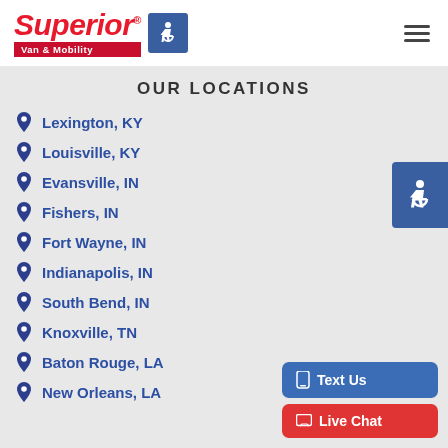Superior Van & Mobility
OUR LOCATIONS
Lexington, KY
Louisville, KY
Evansville, IN
Fishers, IN
Fort Wayne, IN
Indianapolis, IN
South Bend, IN
Knoxville, TN
Baton Rouge, LA
New Orleans, LA